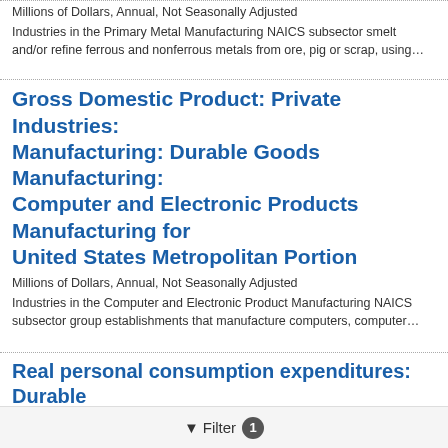Millions of Dollars, Annual, Not Seasonally Adjusted
Industries in the Primary Metal Manufacturing NAICS subsector smelt and/or refine ferrous and nonferrous metals from ore, pig or scrap, using…
Gross Domestic Product: Private Industries: Manufacturing: Durable Goods Manufacturing: Computer and Electronic Products Manufacturing for United States Metropolitan Portion
Millions of Dollars, Annual, Not Seasonally Adjusted
Industries in the Computer and Electronic Product Manufacturing NAICS subsector group establishments that manufacture computers, computer…
Real personal consumption expenditures: Durable goods: Jewelry and watches
Billions of Chained 2012 Dollars, Annual, Not Seasonally Adjusted
BEA Account Code: DJRYRX For more information about this series,
Filter 1